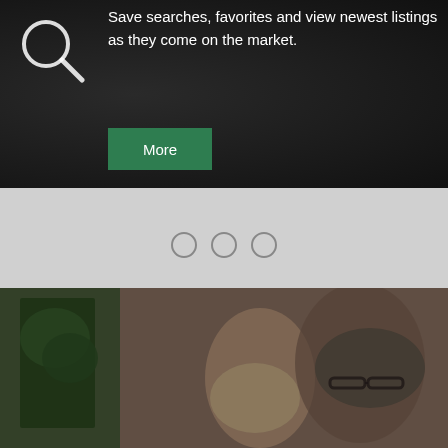[Figure (illustration): Search/magnifying glass icon in white outline on dark background]
Save searches, favorites and view newest listings as they come on the market.
More
[Figure (other): Three empty circle dots (carousel navigation indicators) on light gray background]
TESTIMONIALS
"My goal is always to have, first and foremost, a happy client at the end of our home buying or selling adventure. Ideally all parties leave the transaction having achieved some measure of success, and dare I say...happiness!"